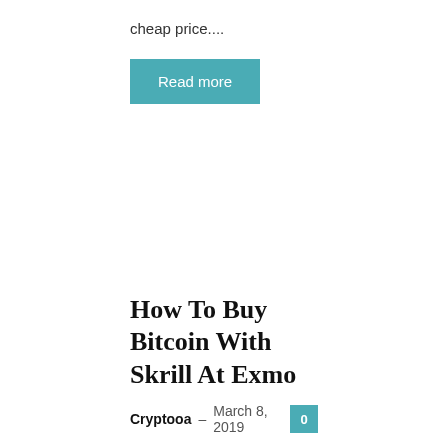cheap price....
Read more
How To Buy Bitcoin With Skrill At Exmo
Cryptooa – March 8, 2019   0
EXMO is an online popular exchange all around the world. The world's most popular Cryptocurrency is